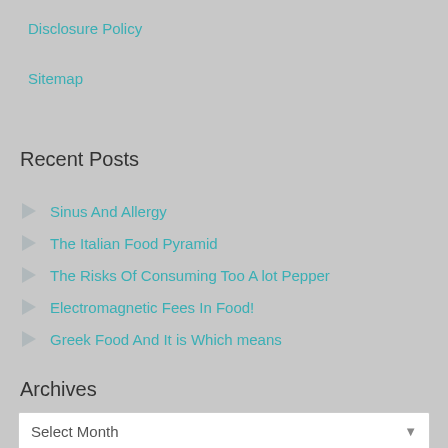Disclosure Policy
Sitemap
Recent Posts
Sinus And Allergy
The Italian Food Pyramid
The Risks Of Consuming Too A lot Pepper
Electromagnetic Fees In Food!
Greek Food And It is Which means
Archives
Select Month